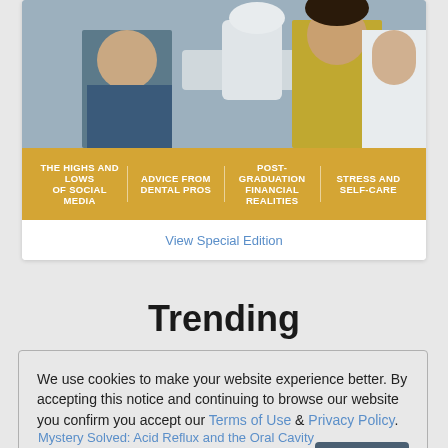[Figure (photo): Photo of a dental patient in a chair with a dental professional in white coat visible, modern dental office setting]
THE HIGHS AND LOWS OF SOCIAL MEDIA | ADVICE FROM DENTAL PROS | POST-GRADUATION FINANCIAL REALITIES | STRESS AND SELF-CARE
View Special Edition
Trending
We use cookies to make your website experience better. By accepting this notice and continuing to browse our website you confirm you accept our Terms of Use & Privacy Policy.
read more >>
I Accept
Mystery Solved: Acid Reflux and the Oral Cavity